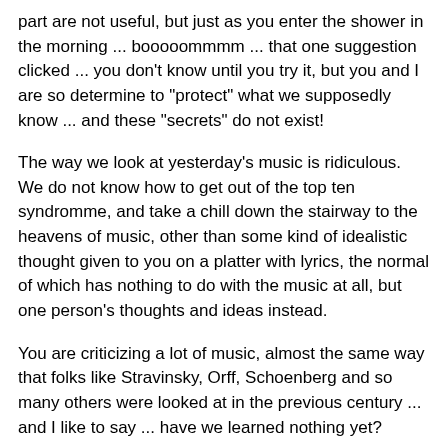part are not useful, but just as you enter the shower in the morning ... booooommmm ... that one suggestion clicked ... you don't know until you try it, but you and I are so determine to "protect" what we supposedly know ... and these "secrets" do not exist!
The way we look at yesterday's music is ridiculous. We do not know how to get out of the top ten syndromme, and take a chill down the stairway to the heavens of music, other than some kind of idealistic thought given to you on a platter with lyrics, the normal of which has nothing to do with the music at all, but one person's thoughts and ideas instead.
You are criticizing a lot of music, almost the same way that folks like Stravinsky, Orff, Schoenberg and so many others were looked at in the previous century ... and I like to say ... have we learned nothing yet?
I seriously doubt that things were "easy" in those days, as you make it out to be ... also considering that the type of work and music was something that no one else did at the time (well, you did like I suppose to say to itself before the